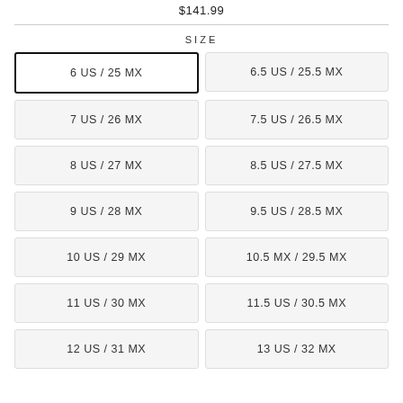$141.99
SIZE
6 US / 25 MX
6.5 US / 25.5 MX
7 US / 26 MX
7.5 US / 26.5 MX
8 US / 27 MX
8.5 US / 27.5 MX
9 US / 28 MX
9.5 US / 28.5 MX
10 US / 29 MX
10.5 MX / 29.5 MX
11 US / 30 MX
11.5 US / 30.5 MX
12 US / 31 MX
13 US / 32 MX